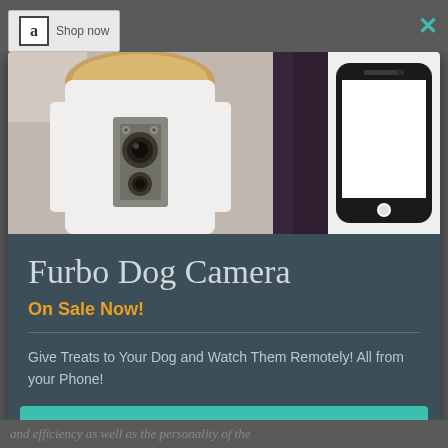[Figure (screenshot): Amazon 'Shop now' badge in top-left of dark grey background bar]
[Figure (photo): Product image strip showing Furbo dog camera device (white cylindrical device with lens) on left, dark purple fabric in middle, and smartphone line-art illustration on right]
Furbo Dog Camera
On Sale Now!
Give Treats to Your Dog and Watch Them Remotely! All from your Phone!
Shop Now!
and efficiency as well as the personality of the